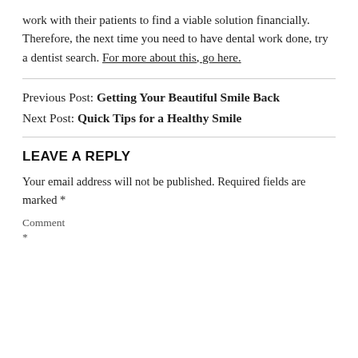work with their patients to find a viable solution financially. Therefore, the next time you need to have dental work done, try a dentist search. For more about this, go here.
Previous Post: Getting Your Beautiful Smile Back
Next Post: Quick Tips for a Healthy Smile
LEAVE A REPLY
Your email address will not be published. Required fields are marked *
Comment
*